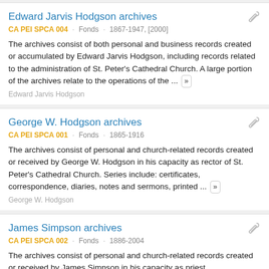Edward Jarvis Hodgson archives
CA PEI SPCA 004 · Fonds · 1867-1947, [2000]
The archives consist of both personal and business records created or accumulated by Edward Jarvis Hodgson, including records related to the administration of St. Peter's Cathedral Church. A large portion of the archives relate to the operations of the ...
Edward Jarvis Hodgson
George W. Hodgson archives
CA PEI SPCA 001 · Fonds · 1865-1916
The archives consist of personal and church-related records created or received by George W. Hodgson in his capacity as rector of St. Peter's Cathedral Church. Series include: certificates, correspondence, diaries, notes and sermons, printed ...
George W. Hodgson
James Simpson archives
CA PEI SPCA 002 · Fonds · 1886-2004
The archives consist of personal and church-related records created or received by James Simpson in his capacity as priest